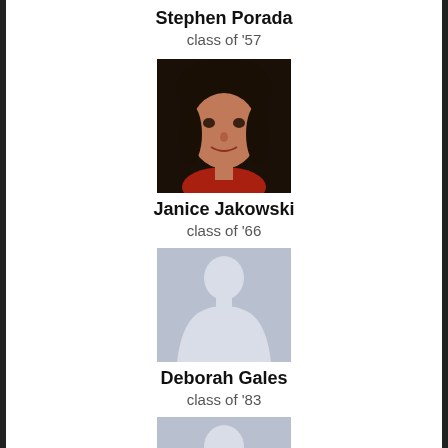Stephen Porada
class of '57
[Figure (photo): Portrait photo of Janice Jakowski, a woman with dark hair and bangs, wearing red.]
Janice Jakowski
class of '66
[Figure (illustration): Generic placeholder silhouette for Deborah Gales.]
Deborah Gales
class of '83
[Figure (illustration): Generic placeholder silhouette for Carol Tozzi.]
Carol Tozzi